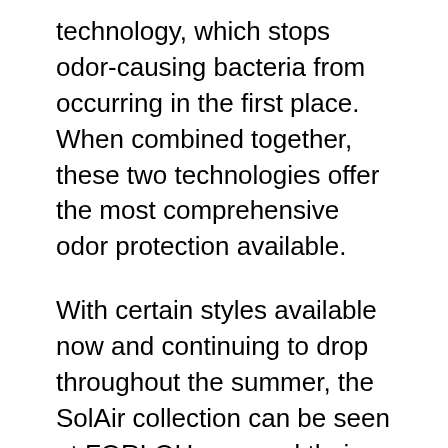technology, which stops odor-causing bacteria from occurring in the first place. When combined together, these two technologies offer the most comprehensive odor protection available.
With certain styles available now and continuing to drop throughout the summer, the SolAir collection can be seen at FORLOH.com and their flagship retail shop in Whitefish, MT. The assortment's colorways include: Deep Cover Camo, Exposed Camo, Sea Clear Camo, Ensign Blue, Glacier, Magnet, and Bahama Green.
brrr° is based and originated in Atlanta, Georgia, upholding FORLOH's commitment to 100% USA manufacturing.